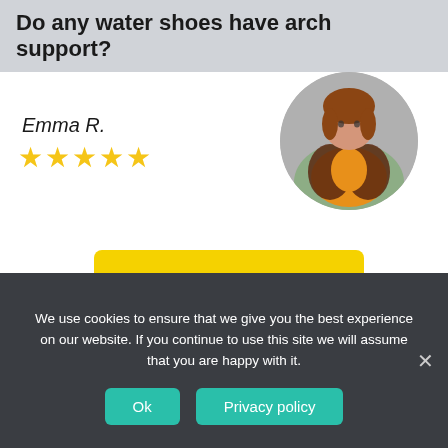Do any water shoes have arch support?
Emma R.
[Figure (illustration): Five yellow star rating icons]
[Figure (photo): Circular profile photo of a woman in an orange top and patterned jacket]
[Figure (other): Yellow ORDER button]
Professional Homework Help
We use cookies to ensure that we give you the best experience on our website. If you continue to use this site we will assume that you are happy with it.